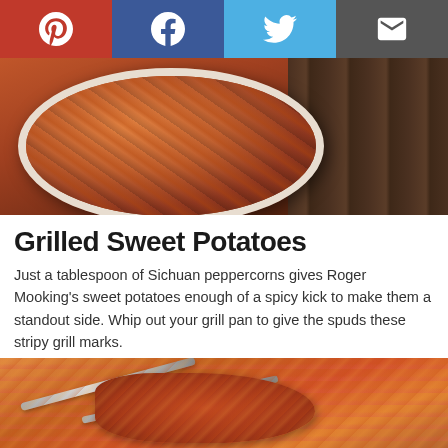[Figure (screenshot): Social media share buttons: Pinterest (red), Facebook (dark blue), Twitter (light blue), Email (dark gray)]
[Figure (photo): Grilled sweet potatoes in a white oval dish on a dark wooden surface]
Grilled Sweet Potatoes
Just a tablespoon of Sichuan peppercorns gives Roger Mooking's sweet potatoes enough of a spicy kick to make them a standout side. Whip out your grill pan to give the spuds these stripy grill marks.
Get the Recipe: Sweet Potatoes
[Figure (photo): Close-up of grilled meat or sweet potato on a red cloth with fork and knife]